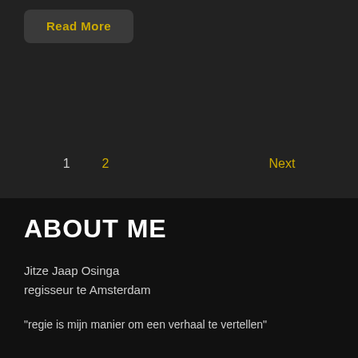Read More
1  2  Next
ABOUT ME
Jitze Jaap Osinga
regisseur te Amsterdam
“regie is mijn manier om een verhaal te vertellen”